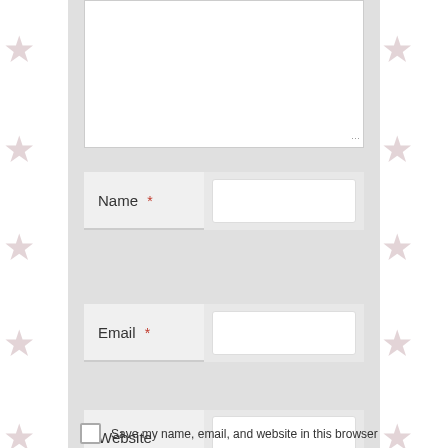[Figure (screenshot): Web form UI showing a comment text area, Name field with required asterisk, Email field with required asterisk, Website field, and a Save my name/email/website checkbox. Decorative star border pattern on left and right sides of the page.]
Name *
Email *
Website
Save my name, email, and website in this browser